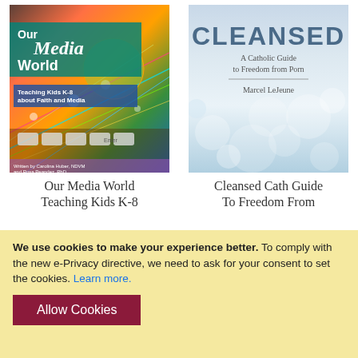[Figure (photo): Book cover of 'Our Media World: Teaching Kids K-8 about Faith and Media' with colorful fiber optics and globe background]
[Figure (photo): Book cover of 'Cleansed: A Catholic Guide to Freedom from Porn' by Marcel LeJeune with soft blue bokeh background]
Our Media World
Teaching Kids K-8
Cleansed Cath Guide
To Freedom From
We use cookies to make your experience better. To comply with the new e-Privacy directive, we need to ask for your consent to set the cookies. Learn more.
Allow Cookies